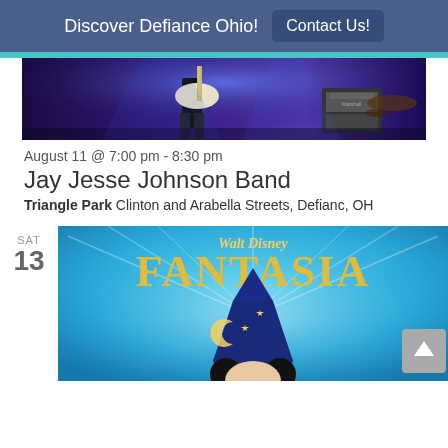Discover Defiance Ohio!   Contact Us!
[Figure (photo): Concert photo showing guitar player on stage with purple/blue lighting and Marshall amplifier]
August 11 @ 7:00 pm - 8:30 pm
Jay Jesse Johnson Band
Triangle Park Clinton and Arabella Streets, Defianc, OH
[Figure (photo): Walt Disney Fantasia movie poster featuring Mickey Mouse in sorcerer hat with gold and blue design on light blue background]